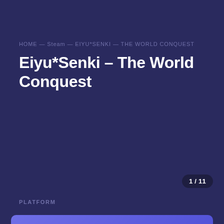HOME — Steam — EIYU*SENKI — THE WORLD CONQUEST
Eiyu*Senki – The World Conquest
1 / 11
PLATFORM